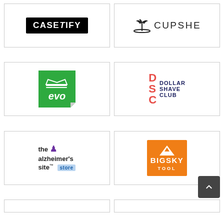[Figure (logo): CASETiFY logo — white text on black background badge]
[Figure (logo): Cupshe logo — palm tree island icon with CUPSHE text]
[Figure (logo): evo logo — green sticker-style square with crown and evo text]
[Figure (logo): Dollar Shave Club logo — DSC letters in coral red beside DOLLAR SHAVE CLUB in navy]
[Figure (logo): The Alzheimer's Site Store logo — text with purple ribbon and blue store badge]
[Figure (logo): BigSky Tool logo — white mountain and BIGSKY TOOL text on orange background]
[Figure (logo): Partially visible logo at bottom left]
[Figure (logo): Partially visible logo at bottom right]